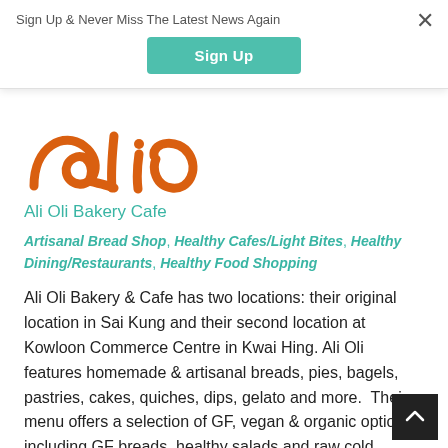Sign Up & Never Miss The Latest News Again
Sign Up
[Figure (logo): Ali Oli Bakery Cafe logo — partial orange cursive lettering visible]
Ali Oli Bakery Cafe
Artisanal Bread Shop, Healthy Cafes/Light Bites, Healthy Dining/Restaurants, Healthy Food Shopping
Ali Oli Bakery & Cafe has two locations: their original location in Sai Kung and their second location at Kowloon Commerce Centre in Kwai Hing. Ali Oli features homemade & artisanal breads, pies, bagels, pastries, cakes, quiches, dips, gelato and more.  Their menu offers a selection of GF, vegan & organic options including GF breads, healthy salads and raw cold pressed juices. They also carry the vegan cheese brands Tofutti and Sheese.